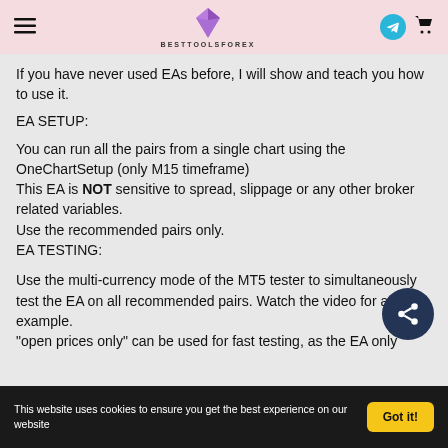BESTTOOLSFOREX
If you have never used EAs before, I will show and teach you how to use it.
EA SETUP:
You can run all the pairs from a single chart using the OneChartSetup (only M15 timeframe)
This EA is NOT sensitive to spread, slippage or any other broker related variables.
Use the recommended pairs only.
EA TESTING:
Use the multi-currency mode of the MT5 tester to simultaneously test the EA on all recommended pairs. Watch the video for an example.
"open prices only" can be used for fast testing, as the EA only
This website uses cookies to ensure you get the best experience on our website